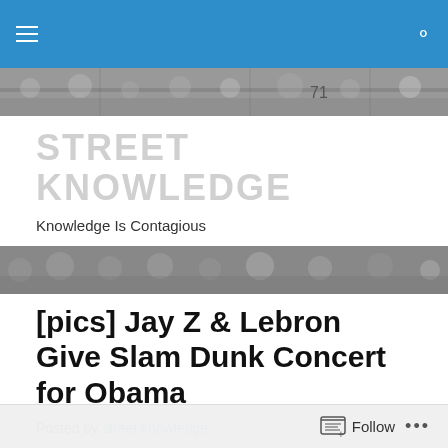Street Knowledge — Navigation bar
[Figure (photo): Black and white street scene photo banner at top]
STREET KNOWLEDGE
Knowledge Is Contagious
[Figure (photo): Black and white street scene photo banner lower]
[pics] Jay Z & Lebron Give Slam Dunk Concert for Obama
Posted by street knowledge
I have never seen such support for one man to win in my entire life. It appears that the world's hope and promise is on Obama. The pressures he faces would certainly crush the average joe. I think he wins by default no matter what
Follow ...